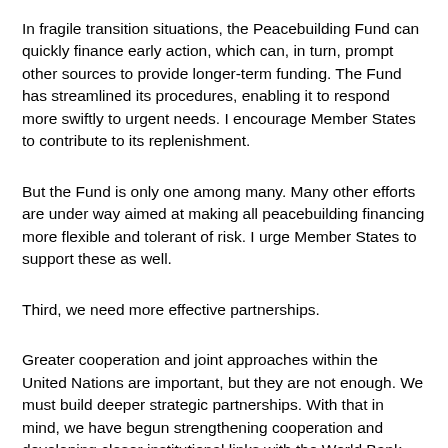In fragile transition situations, the Peacebuilding Fund can quickly finance early action, which can, in turn, prompt other sources to provide longer-term funding. The Fund has streamlined its procedures, enabling it to respond more swiftly to urgent needs. I encourage Member States to contribute to its replenishment.
But the Fund is only one among many. Many other efforts are under way aimed at making all peacebuilding financing more flexible and tolerant of risk. I urge Member States to support these as well.
Third, we need more effective partnerships.
Greater cooperation and joint approaches within the United Nations are important, but they are not enough. We must build deeper strategic partnerships. With that in mind, we have begun strengthening cooperation and developing closer institutional links with the World Bank.